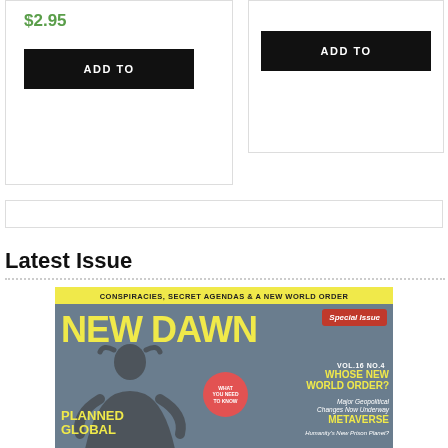$2.95
ADD TO
ADD TO
Latest Issue
[Figure (photo): Cover of New Dawn magazine Special Issue VOL.16 NO.4 with headline 'CONSPIRACIES, SECRET AGENDAS & A NEW WORLD ORDER'. Features articles: 'WHOSE NEW WORLD ORDER? Major Geopolitical Changes Now Underway', 'PLANNED GLOBAL', 'METAVERSE Humanity's New Prison Planet?'. Shows a person with hands on head.]